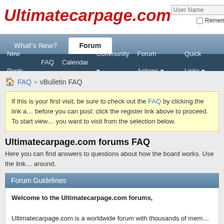[Figure (logo): Ultimatecarpage.com logo in red italic bold text]
User Name  Remember
What's New?  Forum
New Posts  FAQ  Calendar  Community  Forum Actions  Quick Links
FAQ  vBulletin FAQ
If this is your first visit, be sure to check out the FAQ by clicking the link above. You may have to register before you can post: click the register link above to proceed. To start viewing messages, select the forum that you want to visit from the selection below.
Ultimatecarpage.com forums FAQ
Here you can find answers to questions about how the board works. Use the links or search box below to find your way around.
Forum Guidelines
Welcome to the Ultimatecarpage.com forums,
Ultimatecarpage.com is a worldwide forum with thousands of members and growing fast. For that we would like to thank you, as you are one o…
As you may understand, when a space of debate gathers people from different ages, there is behavior that needs to be regulated to avoid misunderstandings. To give you a helping hand, we have created a list of 16 guidelines that we…
Our goal is not in any way to shorten our members' freedom…